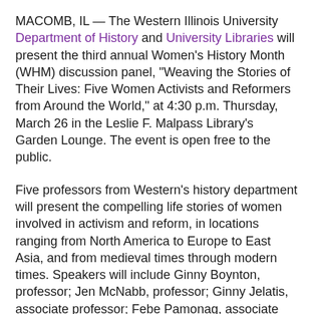MACOMB, IL — The Western Illinois University Department of History and University Libraries will present the third annual Women's History Month (WHM) discussion panel, "Weaving the Stories of Their Lives: Five Women Activists and Reformers from Around the World," at 4:30 p.m. Thursday, March 26 in the Leslie F. Malpass Library's Garden Lounge. The event is open free to the public.
Five professors from Western's history department will present the compelling life stories of women involved in activism and reform, in locations ranging from North America to Europe to East Asia, and from medieval times through modern times. Speakers will include Ginny Boynton, professor; Jen McNabb, professor; Ginny Jelatis, associate professor; Febe Pamonag, associate professor; and Ute Chamberlin, associate professor, all of whom are specialists in women's and gender history.